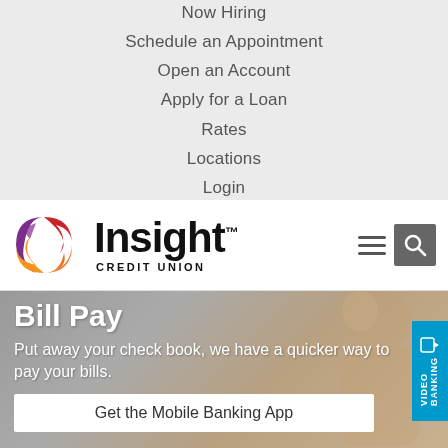Now Hiring
Schedule an Appointment
Open an Account
Apply for a Loan
Rates
Locations
Login
[Figure (logo): Insight Credit Union logo with colorful swirl graphic and bold black Insight text with CREDIT UNION below]
Bill Pay
Put away your check book, we have a quicker way to pay your bills.
Get the Mobile Banking App